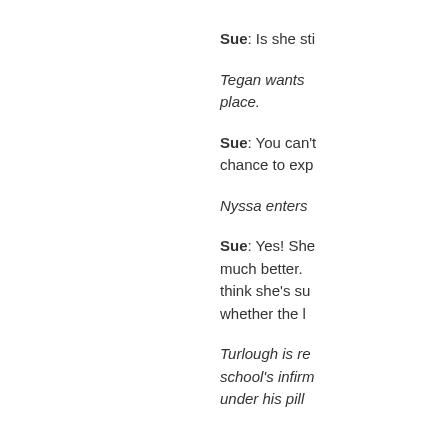Sue: Is she sti
Tegan wants place.
Sue: You can't chance to exp
Nyssa enters
Sue: Yes! She much better. think she's su whether the l
Turlough is re school's infirm under his pill